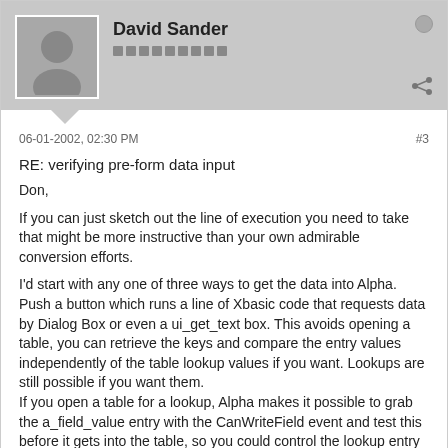David Sander
06-01-2002, 02:30 PM
#3
RE: verifying pre-form data input
Don,

If you can just sketch out the line of execution you need to take that might be more instructive than your own admirable conversion efforts.

I'd start with any one of three ways to get the data into Alpha. Push a button which runs a line of Xbasic code that requests data by Dialog Box or even a ui_get_text box. This avoids opening a table, you can retrieve the keys and compare the entry values independently of the table lookup values if you want. Lookups are still possible if you want them.
If you open a table for a lookup, Alpha makes it possible to grab the a_field_value entry with the CanWriteField event and test this before it gets into the table, so you could control the lookup entry this way.
As you can see, Xbasic can do this task in a few ways and its more flexible than Alpha Four was. Try using your imagination.